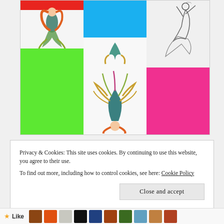[Figure (illustration): 3x2 art grid showing fashion/fantasy illustrations: top-left has red strip above a mermaid figure with orange hair and teal dress, bottom-left has lime green rectangle; top-center has bright blue rectangle; center shows colorful peacock-like figure upside down; top-right shows pencil sketch of ballet dancer; bottom-right has hot pink rectangle.]
Privacy & Cookies: This site uses cookies. By continuing to use this website, you agree to their use.
To find out more, including how to control cookies, see here: Cookie Policy
Close and accept
Like